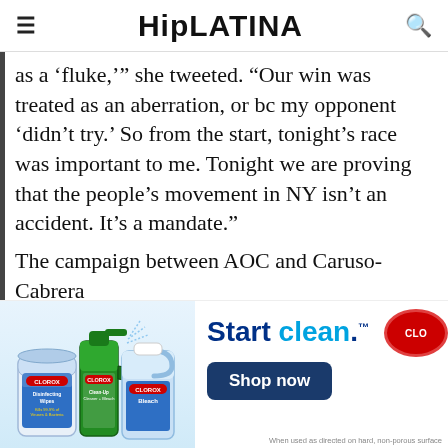HipLATINA
as a ‘fluke,’” she tweeted. “Our win was treated as an aberration, or bc my opponent ‘didn’t try.’ So from the start, tonight’s race was important to me. Tonight we are proving that the people’s movement in NY isn’t an accident. It’s a mandate.”
The campaign between AOC and Caruso-Cabrera
[Figure (photo): Clorox advertisement featuring Clorox cleaning products (Disinfecting Wipes, Clean-Up Cleaner + Bleach, Bleach) with the tagline 'Start clean.' and a 'Shop now' button. Disclaimer: 'When used as directed on hard, non-porous surface']